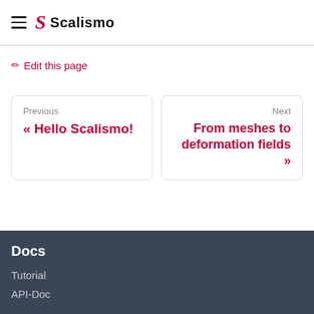Scalismo
✏ Edit this page
Previous
« Hello Scalismo!
Next
From meshes to deformation fields »
Docs
Tutorial
API-Doc